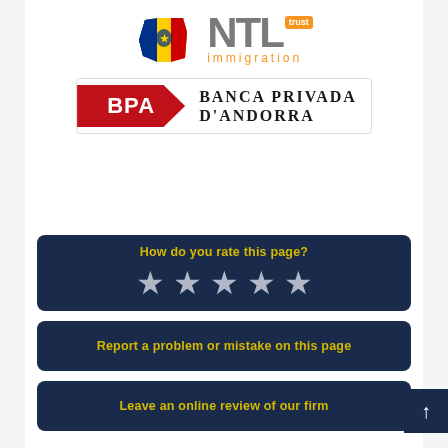[Figure (logo): Andorra map flag icon alongside NTL trust immigration logo (NTL in grey with orange 'trust' badge, 'immigration' in orange below)]
[Figure (logo): BPA Banca Privada D'Andorra logo - red banner with BPA text and company name in serif font]
[Figure (other): Rating widget on dark navy background: 'How do you rate this page?' with 5 grey stars]
Report a problem or mistake on this page
Leave an online review of our firm